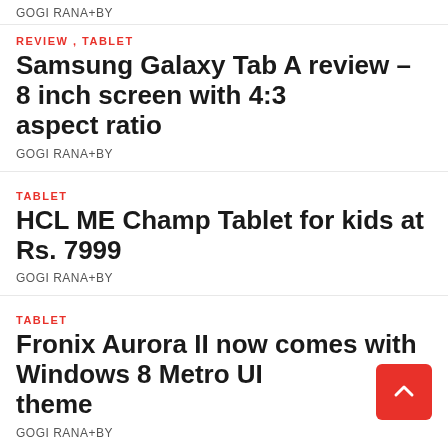GOGI RANA+BY
REVIEW , TABLET
Samsung Galaxy Tab A review – 8 inch screen with 4:3 aspect ratio
GOGI RANA+BY
TABLET
HCL ME Champ Tablet for kids at Rs. 7999
GOGI RANA+BY
TABLET
Fronix Aurora II now comes with Windows 8 Metro UI theme
GOGI RANA+BY